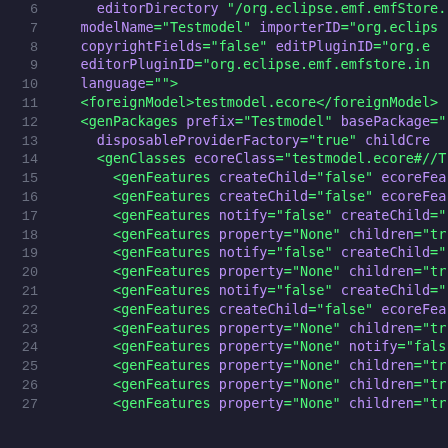Code snippet showing XML/EMF genmodel configuration, lines 6-27
6:   editorDirectory "/org.eclipse.emf.emfstore..."
7:   modelName="Testmodel" importerID="org.eclips..."
8:   copyrightFields="false" editPluginID="org.e..."
9:   editorPluginID="org.eclipse.emf.emfstore.in..."
10:  language="">
11:  <foreignModel>testmodel.ecore</foreignModel>
12:  <genPackages prefix="Testmodel" basePackage="..."
13:    disposableProviderFactory="true" childCre...
14:    <genClasses ecoreClass="testmodel.ecore#//T..."
15:      <genFeatures createChild="false" ecoreFea..."
16:      <genFeatures createChild="false" ecoreFea..."
17:      <genFeatures notify="false" createChild="..."
18:      <genFeatures property="None" children="tr..."
19:      <genFeatures notify="false" createChild="..."
20:      <genFeatures property="None" children="tr..."
21:      <genFeatures notify="false" createChild="..."
22:      <genFeatures createChild="false" ecoreFea..."
23:      <genFeatures property="None" children="tr..."
24:      <genFeatures property="None" notify="fals..."
25:      <genFeatures property="None" children="tr..."
26:      <genFeatures property="None" children="tr..."
27:      <genFeatures property="None" children="tr..."